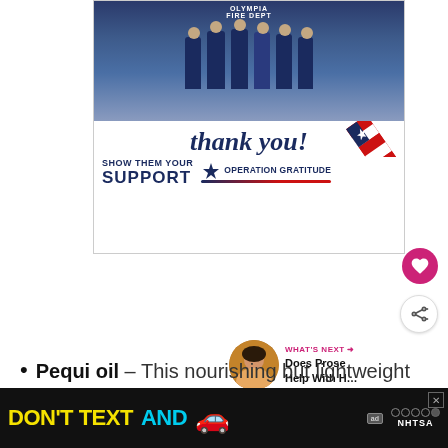[Figure (photo): Operation Gratitude advertisement featuring firefighters from Olympia Fire Dept holding items, with cursive 'thank you!' text, a pencil graphic with American flag colors, and text 'SHOW THEM YOUR SUPPORT OPERATION GRATITUDE']
Pequi oil – This nourishing but lightweight
[Figure (infographic): NHTSA public service advertisement: 'DON'T TEXT AND' with red car emoji, ad badge, NHTSA logo with star rating dots]